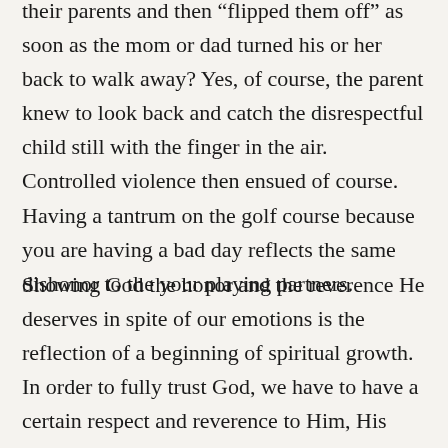their parents and then “flipped them off” as soon as the mom or dad turned his or her back to walk away? Yes, of course, the parent knew to look back and catch the disrespectful child still with the finger in the air. Controlled violence then ensued of course. Having a tantrum on the golf course because you are having a bad day reflects the same dishonor to the your playing partners.
Showing God the honor and the reverence He deserves in spite of our emotions is the reflection of a beginning of spiritual growth. In order to fully trust God, we have to have a certain respect and reverence to Him, His sovereignty and His holiness.